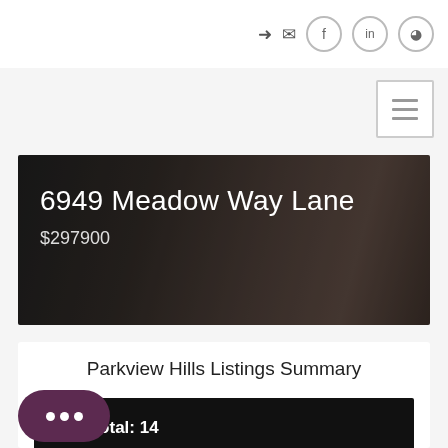Navigation bar with icons: sign-in, email, Facebook, LinkedIn, Instagram
[Figure (screenshot): Hamburger menu button (three horizontal lines) in top right]
[Figure (photo): Dark interior room photo used as hero banner background]
6949 Meadow Way Lane
$297900
Parkview Hills Listings Summary
✛  Total: 14
New: 1